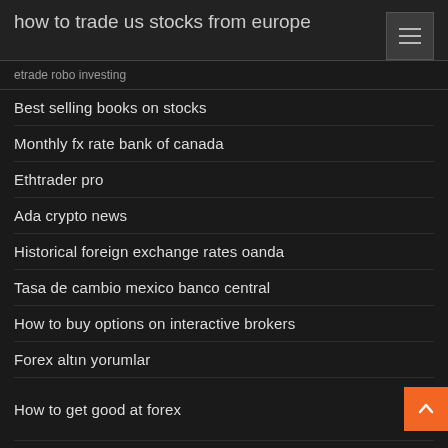how to trade us stocks from europe
etrade robo investing
Best selling books on stocks
Monthly fx rate bank of canada
Ethtrader pro
Ada crypto news
Historical foreign exchange rates oanda
Tasa de cambio mexico banco central
How to buy options on interactive brokers
Forex altın yorumlar
How to get good at forex
Religare online trading charges